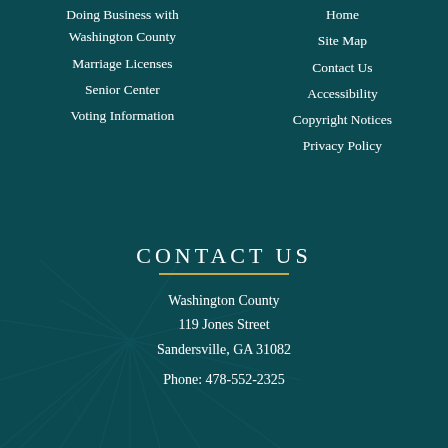Doing Business with Washington County
Marriage Licenses
Senior Center
Voting Information
Home
Site Map
Contact Us
Accessibility
Copyright Notices
Privacy Policy
CONTACT US
Washington County
119 Jones Street
Sandersville, GA 31082
Phone: 478-552-2325